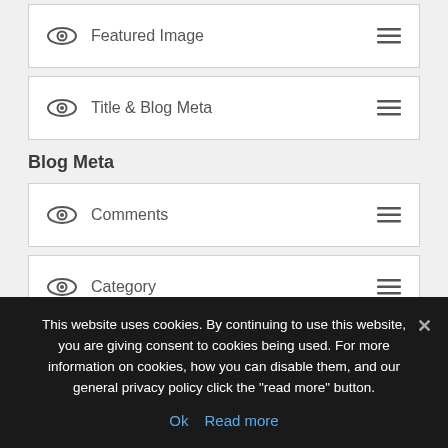Featured Image
Title & Blog Meta
Blog Meta
Comments
Category
Author
Some of the blog settings
This website uses cookies. By continuing to use this website, you are giving consent to cookies being used. For more information on cookies, how you can disable them, and our general privacy policy click the "read more" button.
Ok  Read more